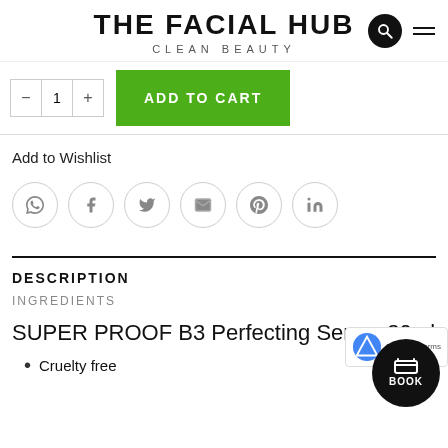THE FACIAL HUB CLEAN BEAUTY
[Figure (screenshot): Add to Cart button with quantity selector (- | +) and green ADD TO CART button]
Add to Wishlist
[Figure (infographic): Row of 6 social sharing icon circles: WhatsApp, Facebook, Twitter, Email, Pinterest, LinkedIn]
DESCRIPTION
INGREDIENTS
SUPER PROOF B3 Perfecting Serum 30ml
Cruelty free